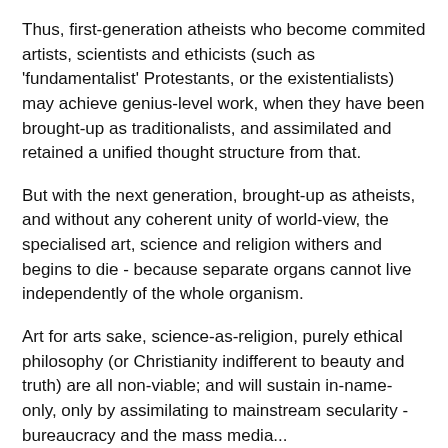Thus, first-generation atheists who become commited artists, scientists and ethicists (such as 'fundamentalist' Protestants, or the existentialists) may achieve genius-level work, when they have been brought-up as traditionalists, and assimilated and retained a unified thought structure from that.
But with the next generation, brought-up as atheists, and without any coherent unity of world-view, the specialised art, science and religion withers and begins to die - because separate organs cannot live independently of the whole organism.
Art for arts sake, science-as-religion, purely ethical philosophy (or Christianity indifferent to beauty and truth) are all non-viable; and will sustain in-name-only, only by assimilating to mainstream secularity - bureaucracy and the mass media...
OK, but what then? Above all others, Owen Barfield pointed the way forward; perhaps because he was born in 1897; yet